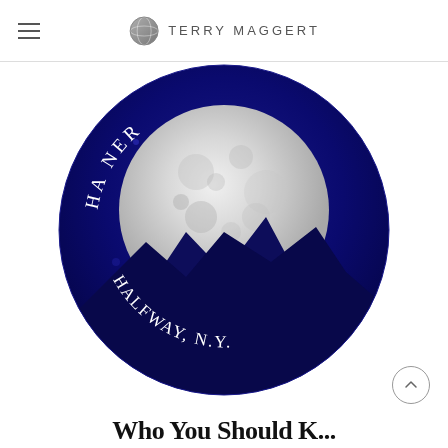TERRY MAGGERT
[Figure (illustration): Circular book cover with deep navy blue background showing a large detailed moon rising behind dark mountain silhouettes. Curved text along the top arc reads 'HA... NER' (partially visible), and curved text along the bottom reads 'HALFWAY, N.Y.' The design is for a book by Terry Maggert.]
Who You Should K... (partially visible)